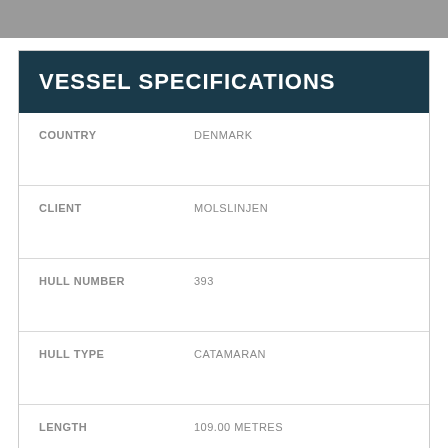[Figure (photo): Gray image bar at top of page, partially visible]
| Field | Value |
| --- | --- |
| COUNTRY | DENMARK |
| CLIENT | MOLSLINJEN |
| HULL NUMBER | 393 |
| HULL TYPE | CATAMARAN |
| LENGTH | 109.00 METRES |
| CAPACITY | 1006 PASSENGERS & 22 CREW |